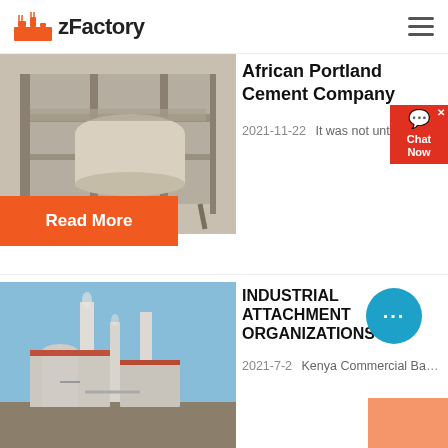zFactory
[Figure (photo): Industrial factory machinery with metal framework and large cylindrical container]
African Portland Cement Company
2021-11-22   It was not until P…
Read More
[Figure (photo): Industrial cement plant with tall chimneys and industrial equipment against blue sky]
INDUSTRIAL ATTACHMENT ORGANIZATIONS
2021-7-2   Kenya Commercial Ba…